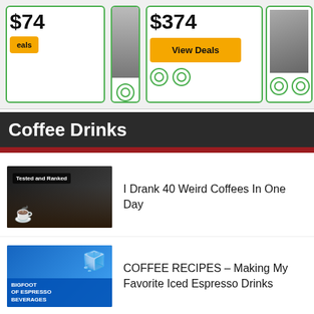[Figure (screenshot): Top partial view of deal cards with prices and View Deals buttons, green circle indicators, and a center photo]
Coffee Drinks
[Figure (photo): Thumbnail: Tested and Ranked label with person behind coffee drinks]
I Drank 40 Weird Coffees In One Day
[Figure (photo): Thumbnail: BIGFOOT OF ESPRESSO BEVERAGES label with iced espresso drink]
COFFEE RECIPES – Making My Favorite Iced Espresso Drinks
[Figure (photo): Thumbnail: 5 ICED STARBUCKS DRINKS label with row of iced drinks]
5 Iced Starbucks Drinks That You Can Easily Make At Home